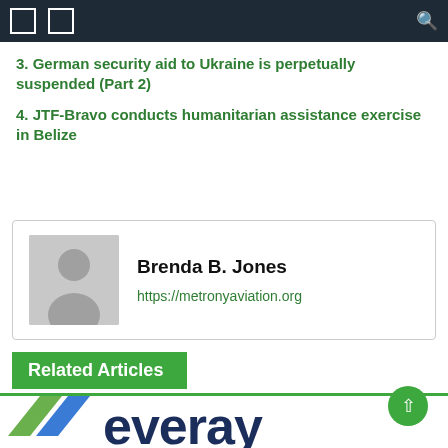navigation bar with icons
3. German security aid to Ukraine is perpetually suspended (Part 2)
4. JTF-Bravo conducts humanitarian assistance exercise in Belize
Brenda B. Jones
https://metronyaviation.org
Related Articles
[Figure (logo): Everay company logo with green and blue chevron marks]